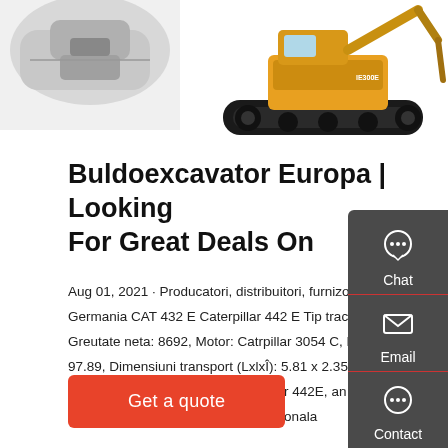[Figure (photo): Partial view of a gray/white machine component on the left side, and a yellow Caterpillar excavator/mining machine on the right side]
Buldoexcavator Europa | Looking For Great Deals On
Aug 01, 2021 · Producatori, distribuitori, furnizori - Buldoexcavator Germania CAT 432 E Caterpillar 442 E Tip tractiune: 4 WD, Greutate neta: 8692, Motor: Catrpillar 3054 C, Putere Motor: 97.89, Dimensiuni transport (LxlxI): 5.81 x 2.35 x 3.91, Alte informatii: Buldoexcavator Caterpillar 442E, an 2008, motor de 72kW in 4 pistoane, cupa multifunctionala
[Figure (infographic): Sidebar with chat, email, and contact buttons on dark gray background]
Get a quote